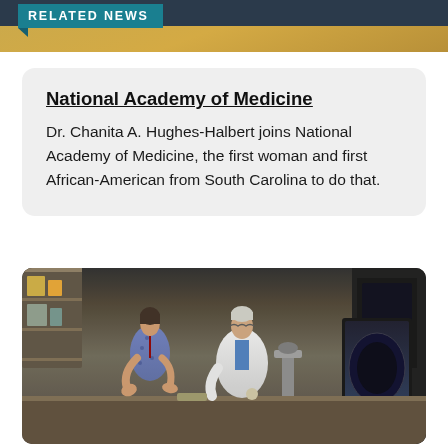RELATED NEWS
National Academy of Medicine
Dr. Chanita A. Hughes-Halbert joins National Academy of Medicine, the first woman and first African-American from South Carolina to do that.
[Figure (photo): Two researchers in a medical laboratory — a woman in a patterned dress and a man in a white lab coat — discussing results near a microscope and computer monitor.]